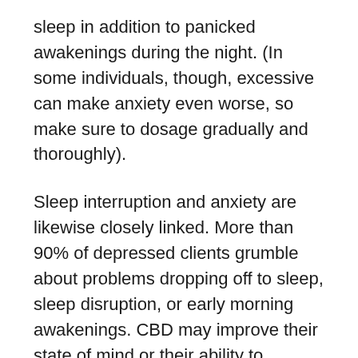sleep in addition to panicked awakenings during the night. (In some individuals, though, excessive can make anxiety even worse, so make sure to dosage gradually and thoroughly).
Sleep interruption and anxiety are likewise closely linked. More than 90% of depressed clients grumble about problems dropping off to sleep, sleep disruption, or early morning awakenings. CBD may improve their state of mind or their ability to manage the condition overall. CBD can also be utilized to deal with parasomnias, sleep disorders like jaw grinding, sleepwalking, or nightmares, and it also cuts the time it requires to drop off to sleep.